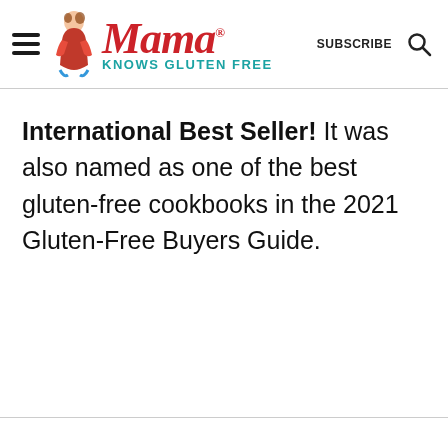Mama Knows Gluten Free — SUBSCRIBE [search icon]
International Best Seller! It was also named as one of the best gluten-free cookbooks in the 2021 Gluten-Free Buyers Guide.